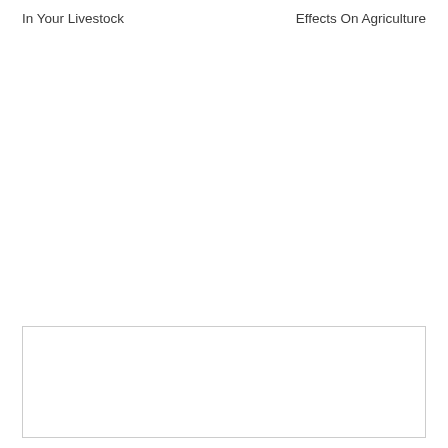In Your Livestock
Effects On Agriculture
[Figure (other): Empty bordered box at bottom of page]